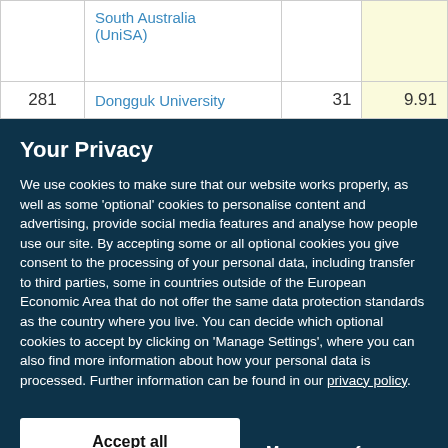| Rank | Institution | Papers | Score |
| --- | --- | --- | --- |
|  | South Australia (UniSA) |  |  |
| 281 | Dongguk University | 31 | 9.91 |
Your Privacy
We use cookies to make sure that our website works properly, as well as some 'optional' cookies to personalise content and advertising, provide social media features and analyse how people use our site. By accepting some or all optional cookies you give consent to the processing of your personal data, including transfer to third parties, some in countries outside of the European Economic Area that do not offer the same data protection standards as the country where you live. You can decide which optional cookies to accept by clicking on 'Manage Settings', where you can also find more information about how your personal data is processed. Further information can be found in our privacy policy.
Accept all cookies
Manage preferences